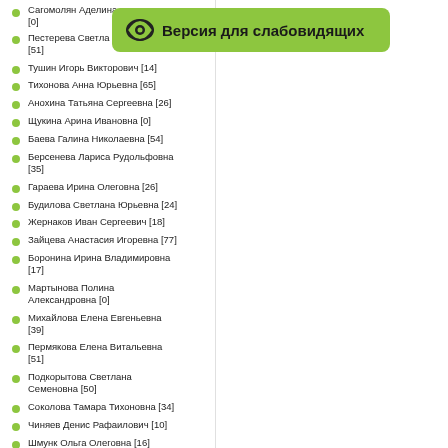[Figure (other): Green accessibility button with eye icon and text 'Версия для слабовидящих']
Сагомолян Аделина [0]
Пестерева Светлана [51]
Тушин Игорь Викторович [14]
Тихонова Анна Юрьевна [65]
Анохина Татьяна Сергеевна [26]
Щукина Арина Ивановна [0]
Баева Галина Николаевна [54]
Берсенева Лариса Рудольфовна [35]
Гараева Ирина Олеговна [26]
Будилова Светлана Юрьевна [24]
Жернаков Иван Сергеевич [18]
Зайцева Анастасия Игоревна [77]
Боронина Ирина Владимировна [17]
Мартынова Полина Александровна [0]
Михайлова Елена Евгеньевна [39]
Пермякова Елена Витальевна [51]
Подкорытова Светлана Семеновна [50]
Соколова Тамара Тихоновна [34]
Чиняев Денис Рафаилович [10]
Шмунк Ольга Олеговна [16]